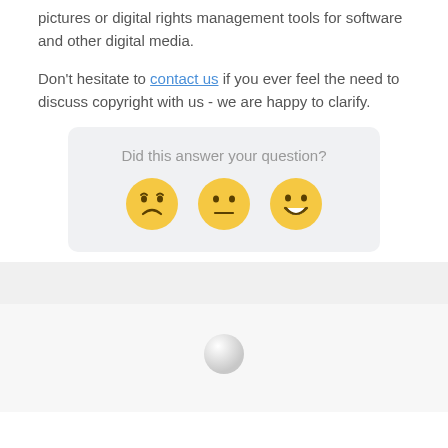pictures or digital rights management tools for software and other digital media.
Don't hesitate to contact us if you ever feel the need to discuss copyright with us - we are happy to clarify.
[Figure (other): Feedback widget with the question 'Did this answer your question?' and three emoji faces: sad, neutral, and happy]
[Figure (other): Loading spinner circle at the bottom of the page]